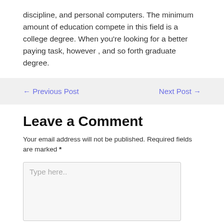discipline, and personal computers. The minimum amount of education compete in this field is a college degree. When you're looking for a better paying task, however , and so forth graduate degree.
← Previous Post    Next Post →
Leave a Comment
Your email address will not be published. Required fields are marked *
Type here..